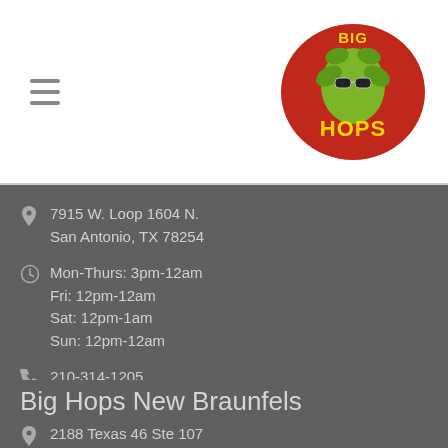[Figure (logo): Big Hops logo — red oval with green hop and sunglasses, yellow text 'BIG HOPS']
7915 W. Loop 1604 N.
San Antonio, TX 78254
Mon-Thurs: 3pm-12am
Fri: 12pm-12am
Sat: 12pm-1am
Sun: 12pm-12am
210-314-1205
Find us on Facebook!
Big Hops New Braunfels
2188 Texas 46 Ste 107
New Braunfels, TX 78132